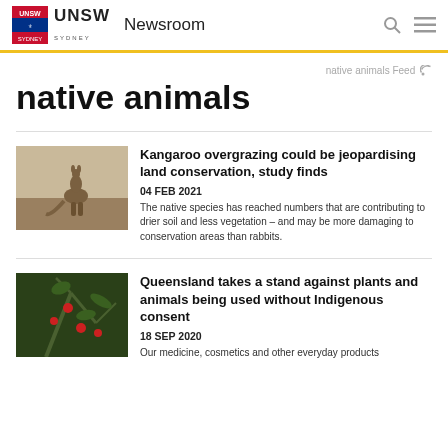UNSW Sydney Newsroom
native animals Feed
native animals
[Figure (photo): Photo of a kangaroo in dry terrain]
Kangaroo overgrazing could be jeopardising land conservation, study finds
04 FEB 2021
The native species has reached numbers that are contributing to drier soil and less vegetation – and may be more damaging to conservation areas than rabbits.
[Figure (photo): Photo of red berries on green plant branches]
Queensland takes a stand against plants and animals being used without Indigenous consent
18 SEP 2020
Our medicine, cosmetics and other everyday products